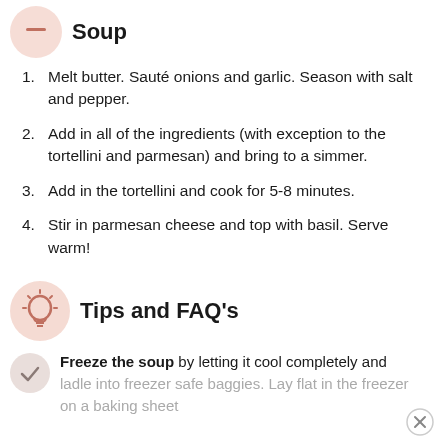Soup
Melt butter. Sauté onions and garlic. Season with salt and pepper.
Add in all of the ingredients (with exception to the tortellini and parmesan) and bring to a simmer.
Add in the tortellini and cook for 5-8 minutes.
Stir in parmesan cheese and top with basil. Serve warm!
Tips and FAQ's
Freeze the soup by letting it cool completely and ladle into freezer safe baggies. Lay flat in the freezer on a baking sheet